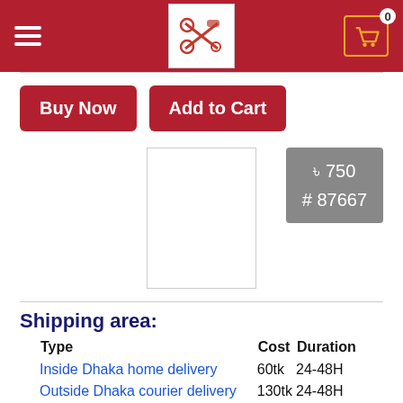Navigation header with hamburger menu, logo, and cart icon showing 0 items
Buy Now | Add to Cart
[Figure (other): Price tag showing ৳ 750 and # 87667 on grey background]
[Figure (other): Product image placeholder (white box with grey border)]
Shipping area:
| Type | Cost | Duration |
| --- | --- | --- |
| Inside Dhaka home delivery | 60tk | 24-48H |
| Outside Dhaka courier delivery | 130tk | 24-48H |
| Outside Dhaka home delivery | 150tk | 3-4D |
NB: After 1 kg Tk.20 will be applicable for each